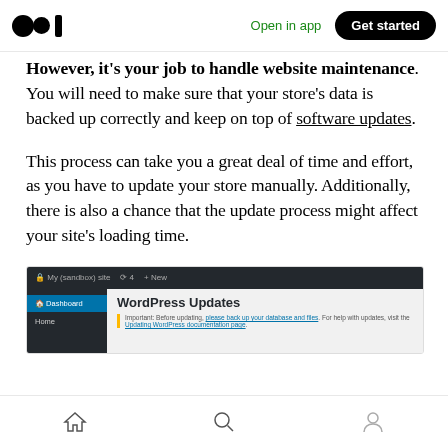Open in app | Get started
However, it's your job to handle website maintenance. You will need to make sure that your store's data is backed up correctly and keep on top of software updates.
This process can take you a great deal of time and effort, as you have to update your store manually. Additionally, there is also a chance that the update process might affect your site's loading time.
[Figure (screenshot): WordPress admin dashboard screenshot showing the Updates page with a notice about backing up database and files before updating.]
Home | Search | Profile